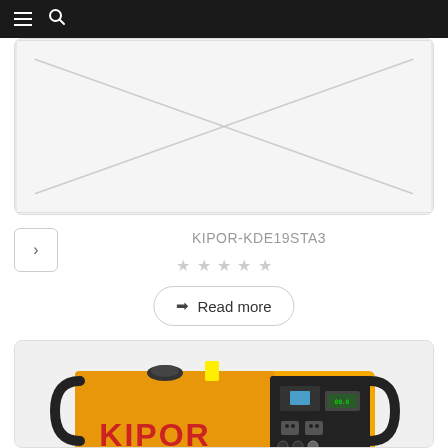Navigation header with menu and search icons
[Figure (photo): Placeholder image box with diagonal lines indicating missing image, for a product listing]
KIPOR-KDE19STA3
★★★★★ (empty stars rating)
➡ Read more
[Figure (photo): Kipor brand generator in orange/yellow with black control panel, model shown from front-side view]